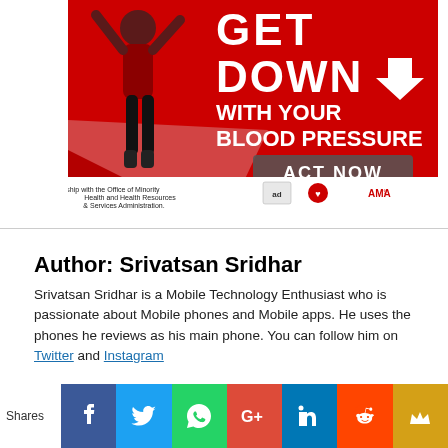[Figure (photo): Health awareness advertisement banner: 'GET DOWN WITH YOUR BLOOD PRESSURE - ACT NOW' with a person exercising, in partnership with Office of Minority Health and Health Resources & Services Administration. Logos: ad council, American Heart Association, AMA.]
Author: Srivatsan Sridhar
Srivatsan Sridhar is a Mobile Technology Enthusiast who is passionate about Mobile phones and Mobile apps. He uses the phones he reviews as his main phone. You can follow him on Twitter and Instagram
View all posts by Srivatsan Sridhar
Shares